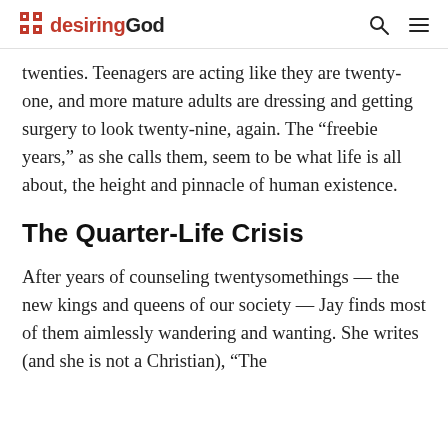desiringGod
twenties. Teenagers are acting like they are twenty-one, and more mature adults are dressing and getting surgery to look twenty-nine, again. The “freebie years,” as she calls them, seem to be what life is all about, the height and pinnacle of human existence.
The Quarter-Life Crisis
After years of counseling twentysomethings — the new kings and queens of our society — Jay finds most of them aimlessly wandering and wanting. She writes (and she is not a Christian), “The